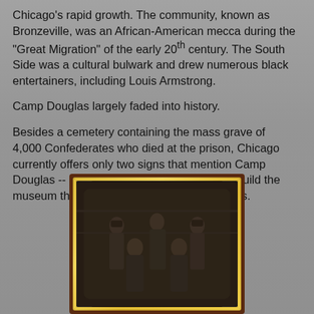Chicago's rapid growth. The community, known as Bronzeville, was an African-American mecca during the "Great Migration" of the early 20th century. The South Side was a cultural bulwark and drew numerous black entertainers, including Louis Armstrong.
Camp Douglas largely faded into history.
Besides a cemetery containing the mass grave of 4,000 Confederates who died at the prison, Chicago currently offers only two signs that mention Camp Douglas -- hence the foundation's efforts to build the museum that will resemble one of its barracks.
[Figure (photo): An old tintype or ambrotype photograph in an ornate gold and brown frame, showing a group of five men posing together, appearing to be from the Civil War era.]